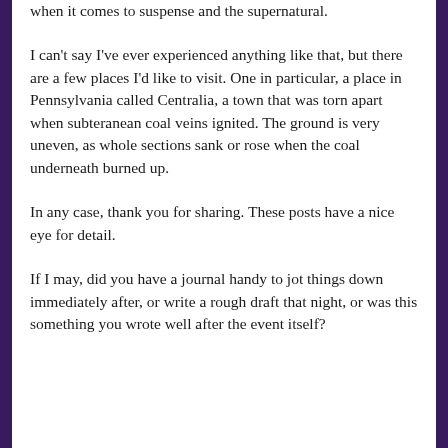when it comes to suspense and the supernatural.
I can't say I've ever experienced anything like that, but there are a few places I'd like to visit. One in particular, a place in Pennsylvania called Centralia, a town that was torn apart when subteranean coal veins ignited. The ground is very uneven, as whole sections sank or rose when the coal underneath burned up.
In any case, thank you for sharing. These posts have a nice eye for detail.
If I may, did you have a journal handy to jot things down immediately after, or write a rough draft that night, or was this something you wrote well after the event itself?